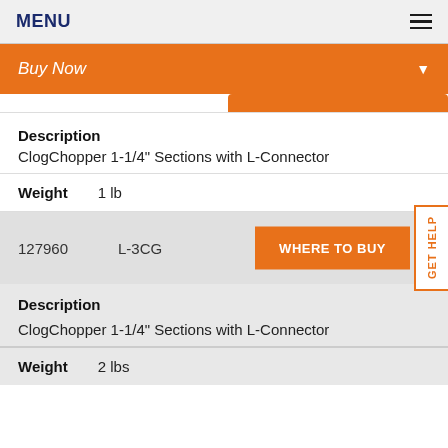MENU
Buy Now
Description
ClogChopper 1-1/4" Sections with L-Connector
Weight    1 lb
127960    L-3CG    WHERE TO BUY
Description
ClogChopper 1-1/4" Sections with L-Connector
Weight    2 lbs